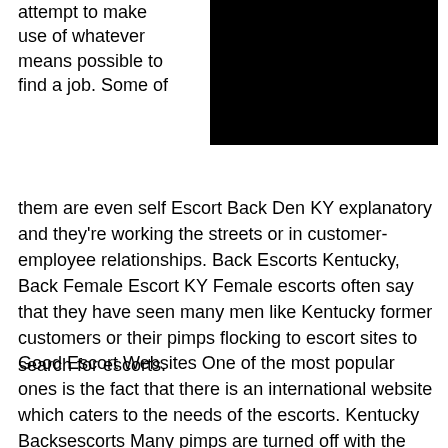attempt to make use of whatever means possible to find a job. Some of
[Figure (photo): Black rectangle image placeholder]
them are even self Escort Back Den KY explanatory and they're working the streets or in customer-employee relationships. Back Escorts Kentucky, Back Female Escort KY Female escorts often say that they have seen many men like Kentucky former customers or their pimps flocking to escort sites to search for escorts.
Good Escort Websites One of the most popular ones is the fact that there is an international website which caters to the needs of the escorts. Kentucky Backsescorts Many pimps are turned off with the idea of hiring escorts by setting up a